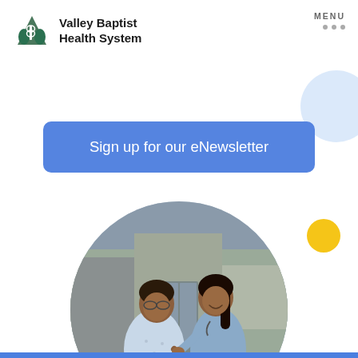[Figure (logo): Valley Baptist Health System logo with mountain/tree icon in dark green and teal]
MENU
Sign up for our eNewsletter
[Figure (photo): A nurse or healthcare worker helping a patient in a wheelchair, both smiling, displayed in a circular crop]